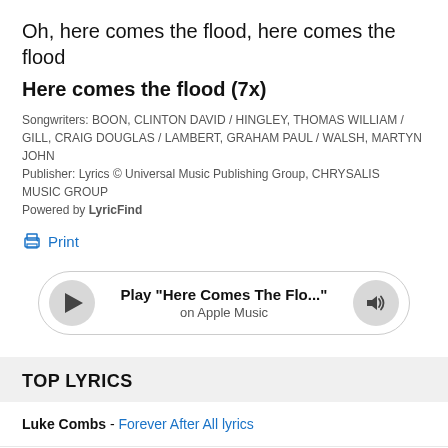Oh, here comes the flood, here comes the flood
Here comes the flood (7x)
Songwriters: BOON, CLINTON DAVID / HINGLEY, THOMAS WILLIAM / GILL, CRAIG DOUGLAS / LAMBERT, GRAHAM PAUL / WALSH, MARTYN JOHN
Publisher: Lyrics © Universal Music Publishing Group, CHRYSALIS MUSIC GROUP
Powered by LyricFind
Print
[Figure (other): Apple Music player bar with play button, track title 'Play "Here Comes The Flo..."' on Apple Music, and volume button]
TOP LYRICS
Luke Combs - Forever After All lyrics
AJR - Bang! lyrics